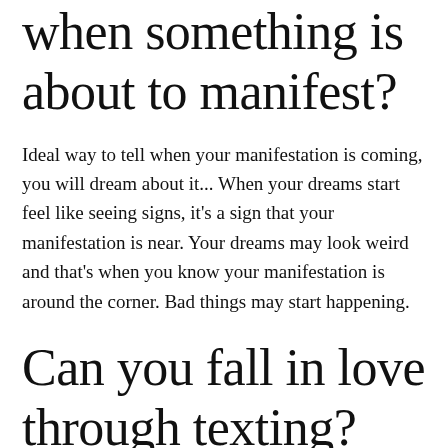when something is about to manifest?
Ideal way to tell when your manifestation is coming, you will dream about it... When your dreams start feel like seeing signs, it's a sign that your manifestation is near. Your dreams may look weird and that's when you know your manifestation is around the corner. Bad things may start happening.
Can you fall in love through texting?